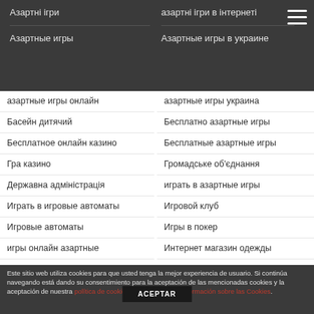Азартні ігри
азартні ігри в інтернеті
Азартные игры
Азартные игры в украине
азартные игры онлайн
азартные игры украина
Басейн дитячий
Бесплатно азартные игры
Бесплатное онлайн казино
Бесплатные азартные игры
Гра казино
Громадське об'єднання
Державна адміністрація
играть в азартные игры
Играть в игровые автоматы
Игровой клуб
Игровые автоматы
Игры в покер
игры онлайн азартные
Интернет магазин одежды
Ігрові автомати
Казино бонуси
Este sitio web utiliza cookies para que usted tenga la mejor experiencia de usuario. Si continúa navegando está dando su consentimiento para la aceptación de las mencionadas cookies y la aceptación de nuestra política de cookies. Clic para mayor información sobre las Cookies.
ACEPTAR